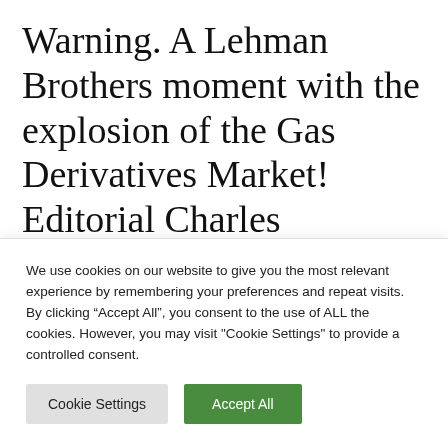Warning. A Lehman Brothers moment with the explosion of the Gas Derivatives Market! Editorial Charles SANNAT
JUNE 24, 2022  -  BY ADMIN
My favourite limitless, my favourite limitless
We use cookies on our website to give you the most relevant experience by remembering your preferences and repeat visits. By clicking "Accept All", you consent to the use of ALL the cookies. However, you may visit "Cookie Settings" to provide a controlled consent.